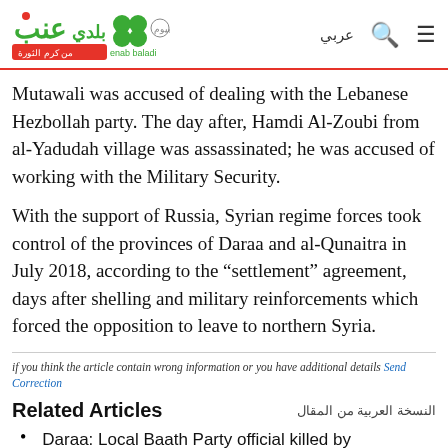enab baladi — عربي
Mutawali was accused of dealing with the Lebanese Hezbollah party. The day after, Hamdi Al-Zoubi from al-Yadudah village was assassinated; he was accused of working with the Military Security.
With the support of Russia, Syrian regime forces took control of the provinces of Daraa and al-Qunaitra in July 2018, according to the “settlement” agreement, days after shelling and military reinforcements which forced the opposition to leave to northern Syria.
if you think the article contain wrong information or you have additional details Send Correction
Related Articles
Daraa: Local Baath Party official killed by unknown assailants